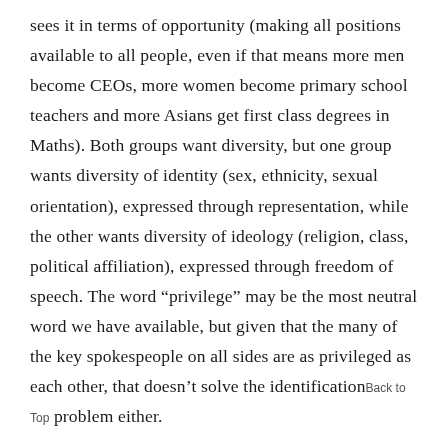sees it in terms of opportunity (making all positions available to all people, even if that means more men become CEOs, more women become primary school teachers and more Asians get first class degrees in Maths). Both groups want diversity, but one group wants diversity of identity (sex, ethnicity, sexual orientation), expressed through representation, while the other wants diversity of ideology (religion, class, political affiliation), expressed through freedom of speech. The word “privilege” may be the most neutral word we have available, but given that the many of the key spokespeople on all sides are as privileged as each other, that doesn’t solve the identification problem either.